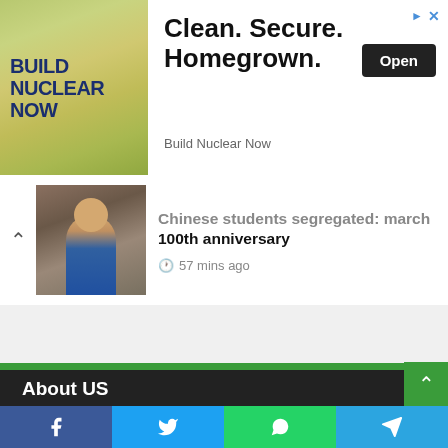[Figure (illustration): Advertisement banner for Build Nuclear Now. Left side shows green/yellow background with text BUILD NUCLEAR NOW. Right side has headline Clean. Secure. Homegrown. with an Open button and Build Nuclear Now subtext. Top right has arrow and X ad icons.]
Chinese students segregated: march 100th anniversary
57 mins ago
About US
News7H is the fastest emerging news website covering all the latest news, World News, Entertainment, APK, Tech and Game, and more.
[Figure (other): Social media share bar at the bottom with Facebook, Twitter, WhatsApp, and Telegram icons.]